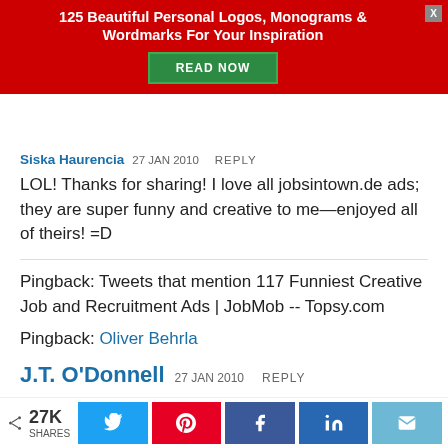[Figure (infographic): Red advertisement banner with bold white text '125 Beautiful Personal Logos, Monograms & Wordmarks For Your Inspiration' and a green 'READ NOW' button. A gray close button (X) in the top right.]
Siska Haurencia  27 JAN 2010   REPLY
LOL! Thanks for sharing! I love all jobsintown.de ads; they are super funny and creative to me—enjoyed all of theirs! =D
Pingback: Tweets that mention 117 Funniest Creative Job and Recruitment Ads | JobMob -- Topsy.com
Pingback: Oliver Behrla
J.T. O'Donnell  27 JAN 2010   REPLY
LOL! Thanks for sharing! I love all jobsintown.de ads; they are
27K SHARES  [Twitter] [Pinterest] [Facebook] [LinkedIn] [Email]